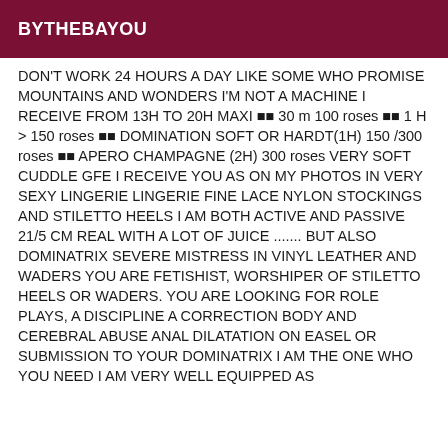BYTHEBAYOU
DON'T WORK 24 HOURS A DAY LIKE SOME WHO PROMISE MOUNTAINS AND WONDERS I'M NOT A MACHINE I RECEIVE FROM 13H TO 20H MAXI ■■ 30 m 100 roses ■■ 1 H > 150 roses ■■ DOMINATION SOFT OR HARDT(1H) 150 /300 roses ■■ APERO CHAMPAGNE (2H) 300 roses VERY SOFT CUDDLE GFE I RECEIVE YOU AS ON MY PHOTOS IN VERY SEXY LINGERIE LINGERIE FINE LACE NYLON STOCKINGS AND STILETTO HEELS I AM BOTH ACTIVE AND PASSIVE 21/5 CM REAL WITH A LOT OF JUICE ....... BUT ALSO DOMINATRIX SEVERE MISTRESS IN VINYL LEATHER AND WADERS YOU ARE FETISHIST, WORSHIPER OF STILETTO HEELS OR WADERS. YOU ARE LOOKING FOR ROLE PLAYS, A DISCIPLINE A CORRECTION BODY AND CEREBRAL ABUSE ANAL DILATATION ON EASEL OR SUBMISSION TO YOUR DOMINATRIX I AM THE ONE WHO YOU NEED I AM VERY WELL EQUIPPED AS